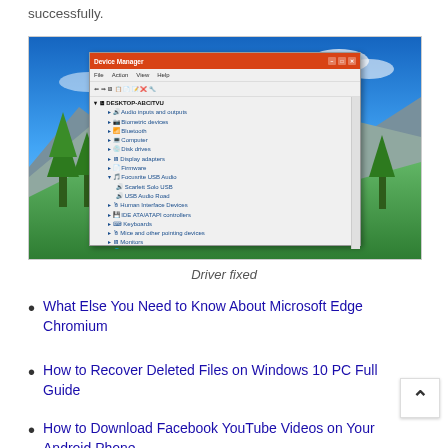successfully.
[Figure (screenshot): Windows Device Manager window open on a desktop with an alpine mountain landscape background. The Device Manager shows a tree list of hardware devices including Audio inputs and outputs, Biometric devices, Bluetooth, Computer, Disk drives, Display adapters, Firmware, Focusrite USB Audio (expanded showing Scarlett Solo USB and USB Audio Road), Human Interface Devices, IDE ATA/ATAPI controllers, Keyboards, Mice and other pointing devices, Monitors, Network adapters, Ports (COM & LPT), Print queues, Processors, Security devices, Software components, Software devices, Sound video and game controllers, Storage controllers, System devices.]
Driver fixed
What Else You Need to Know About Microsoft Edge Chromium
How to Recover Deleted Files on Windows 10 PC Full Guide
How to Download Facebook YouTube Videos on Your Android Phone